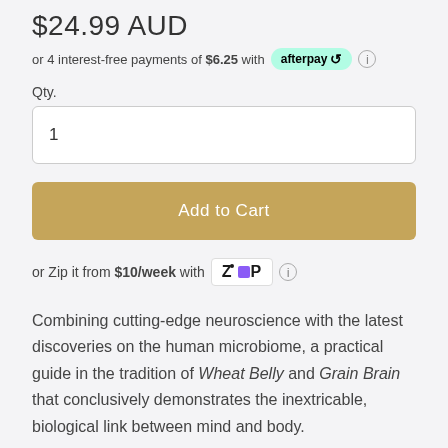$24.99 AUD
or 4 interest-free payments of $6.25 with afterpay ℹ
Qty.
1
Add to Cart
or Zip it from $10/week with Zip ℹ
Combining cutting-edge neuroscience with the latest discoveries on the human microbiome, a practical guide in the tradition of Wheat Belly and Grain Brain that conclusively demonstrates the inextricable, biological link between mind and body.